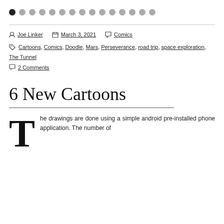[Figure (other): Dot navigation indicator row with one filled black dot (active) followed by fourteen grey dots (inactive)]
Joe Linker   March 3, 2021   Comics
Cartoons, Comics, Doodle, Mars, Perseverance, road trip, space exploration, The Tunnel
2 Comments
6 New Cartoons
The drawings are done using a simple android pre-installed phone application. The number of